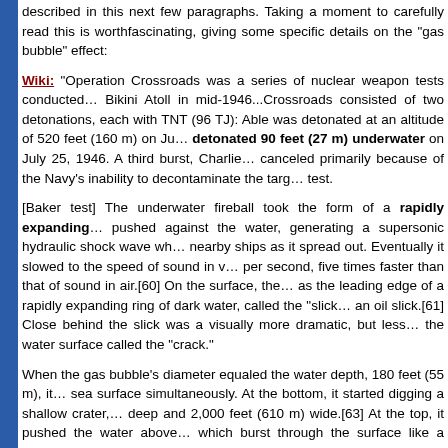described in this next few paragraphs. Taking a moment to carefully read this is worthwhile, fascinating, giving some specific details on the "gas bubble" effect:
Wiki: "Operation Crossroads was a series of nuclear weapon tests conducted at Bikini Atoll in mid-1946...Crossroads consisted of two detonations, each with TNT (96 TJ): Able was detonated at an altitude of 520 feet (160 m) on Ju... detonated 90 feet (27 m) underwater on July 25, 1946. A third burst, Charlie, canceled primarily because of the Navy's inability to decontaminate the target test.
[Baker test] The underwater fireball took the form of a rapidly expanding ... pushed against the water, generating a supersonic hydraulic shock wave wh... nearby ships as it spread out. Eventually it slowed to the speed of sound in v... per second, five times faster than that of sound in air.[60] On the surface, the... as the leading edge of a rapidly expanding ring of dark water, called the "slick... an oil slick.[61] Close behind the slick was a visually more dramatic, but less... the water surface called the "crack."
When the gas bubble's diameter equaled the water depth, 180 feet (55 m), it... sea surface simultaneously. At the bottom, it started digging a shallow crater,... deep and 2,000 feet (610 m) wide.[63] At the top, it pushed the water above... which burst through the surface like a geyser. Elapsed time since detonation... [64] During the first full second, the expanding bubble removed all the water w... radius and lifted two million tons[65] of spray and seabed sand into the air... 2,500 feet per second (760 m/s).[66] it stretched the spray dome into a holl...